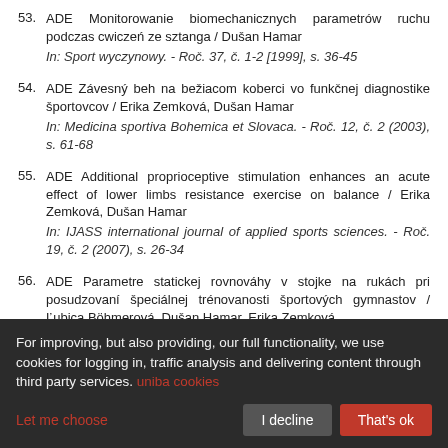53. ADE Monitorowanie biomechanicznych parametrów ruchu podczas cwiczeń ze sztanga / Dušan Hamar
In: Sport wyczynowy. - Roč. 37, č. 1-2 [1999], s. 36-45
54. ADE Závesný beh na bežiacom koberci vo funkčnej diagnostike športovcov / Erika Zemková, Dušan Hamar
In: Medicina sportiva Bohemica et Slovaca. - Roč. 12, č. 2 (2003), s. 61-68
55. ADE Additional proprioceptive stimulation enhances an acute effect of lower limbs resistance exercise on balance / Erika Zemková, Dušan Hamar
In: IJASS international journal of applied sports sciences. - Roč. 19, č. 2 (2007), s. 26-34
56. ADE Parametre statickej rovnováhy v stojke na rukách pri posudzovaní špeciálnej trénovanosti športových gymnastov / Ľubica Böhmerová, Dušan Hamar, Erika Zemková
In: Medicina sportiva Bohemica et Slovaca. - Roč. 14, č. 2 (2005), s. 74-79
57. ADE Metabolische Beanspruchungen im Tourenskilauf / Dušan
For improving, but also providing, our full functionality, we use cookies for logging in, traffic analysis and delivering content through third party services. uniba cookies
Let me choose    I decline    That's ok